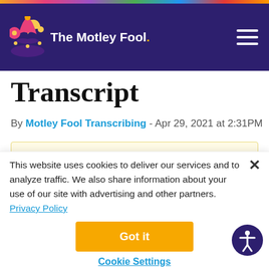The Motley Fool
Transcript
By Motley Fool Transcribing - Apr 29, 2021 at 2:31PM
You’re reading a free article with opinions that may differ from The Motley Fool’s Premium Investing Services. Become a Motley Fool member today to get instant
This website uses cookies to deliver our services and to analyze traffic. We also share information about your use of our site with advertising and other partners. Privacy Policy
Got it
Cookie Settings